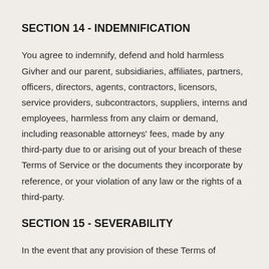SECTION 14 - INDEMNIFICATION
You agree to indemnify, defend and hold harmless Givher and our parent, subsidiaries, affiliates, partners, officers, directors, agents, contractors, licensors, service providers, subcontractors, suppliers, interns and employees, harmless from any claim or demand, including reasonable attorneys' fees, made by any third-party due to or arising out of your breach of these Terms of Service or the documents they incorporate by reference, or your violation of any law or the rights of a third-party.
SECTION 15 - SEVERABILITY
In the event that any provision of these Terms of Service